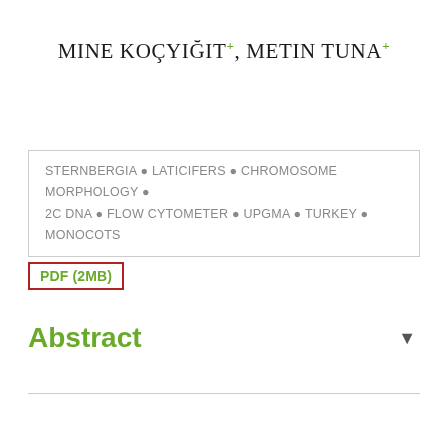MINE KOÇYIĞIT+, METIN TUNA+
STERNBERGIA ● LATICIFERS ● CHROMOSOME MORPHOLOGY ● 2C DNA ● FLOW CYTOMETER ● UPGMA ● TURKEY ● MONOCOTS
PDF (2MB)
Abstract